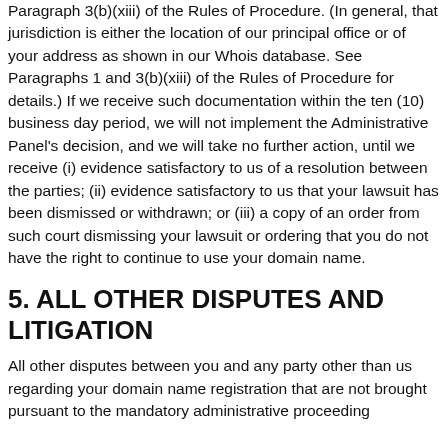Paragraph 3(b)(xiii) of the Rules of Procedure. (In general, that jurisdiction is either the location of our principal office or of your address as shown in our Whois database. See Paragraphs 1 and 3(b)(xiii) of the Rules of Procedure for details.) If we receive such documentation within the ten (10) business day period, we will not implement the Administrative Panel's decision, and we will take no further action, until we receive (i) evidence satisfactory to us of a resolution between the parties; (ii) evidence satisfactory to us that your lawsuit has been dismissed or withdrawn; or (iii) a copy of an order from such court dismissing your lawsuit or ordering that you do not have the right to continue to use your domain name.
5. ALL OTHER DISPUTES AND LITIGATION
All other disputes between you and any party other than us regarding your domain name registration that are not brought pursuant to the mandatory administrative proceeding